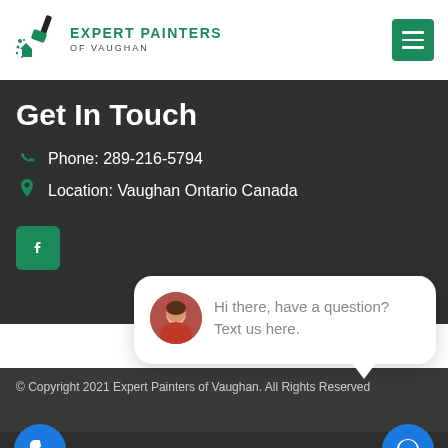[Figure (logo): Expert Painters of Vaughan logo with paintbrush and house icon in green]
Get In Touch
Phone: 289-216-5794
Location: Vaughan Ontario Canada
[Figure (screenshot): Facebook icon button in green square and close button]
[Figure (screenshot): Chat popup with avatar and message: Hi there, have a question? Text us here.]
© Copyright 2021 Expert Painters of Vaughan. All Rights Reserved
Terms of Service   Privacy Policy   Sitemap